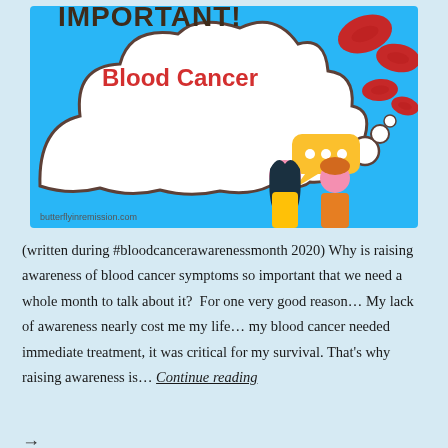[Figure (illustration): Blood cancer awareness infographic with cloud thought bubble showing 'IMPORTANT! Blood Cancer' text, red blood cells floating, a yellow speech bubble with dots, and two cartoon figures (female with dark hair and male with orange hair) on a sky blue background. Website watermark: butterflyinremission.com]
(written during #bloodcanceraware­nessmonth 2020) Why is raising awareness of blood cancer symptoms so important that we need a whole month to talk about it?  For one very good reason… My lack of awareness nearly cost me my life… my blood cancer needed immediate treatment, it was critical for my survival. That's why raising awareness is… Continue reading →